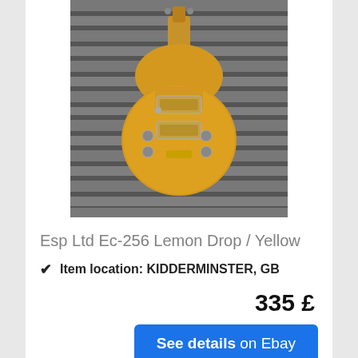[Figure (photo): ESP Ltd EC-256 Lemon Drop / Yellow electric guitar against striped fabric background]
Esp Ltd Ec-256 Lemon Drop / Yellow
✔ Item location: KIDDERMINSTER, GB
335 £
See details on Ebay
[Figure (photo): Partial view of another ESP guitar headstock against a wall]